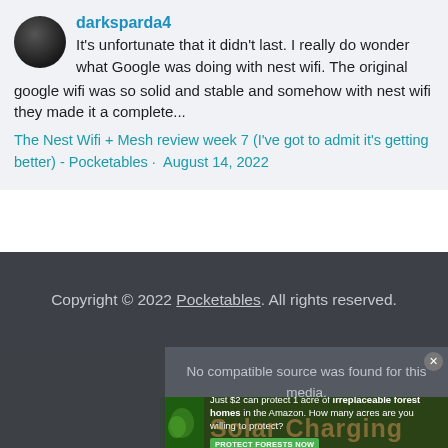darksparda4
It's unfortunate that it didn't last. I really do wonder what Google was doing with nest wifi. The original google wifi was so solid and stable and somehow with nest wifi they made it a complete...
The Nest Wifi + Mesh review week 7 (I've got to admit it's getting better) - Pocketables · August 14, 2022
Copyright © 2022 Pocketables. All rights reserved.
No compatible source was found for this media.
Solar Charging
Just $2 can protect 1 acre of irreplaceable forest homes in the Amazon. How many acres are you willing to protect?